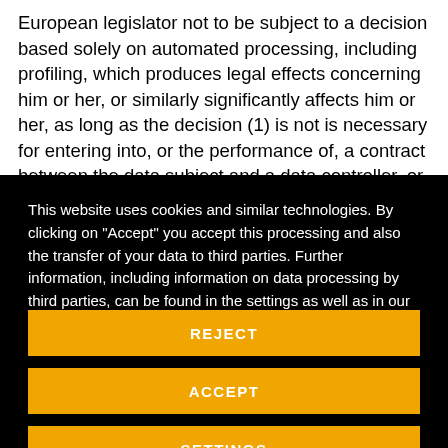European legislator not to be subject to a decision based solely on automated processing, including profiling, which produces legal effects concerning him or her, or similarly significantly affects him or her, as long as the decision (1) is not is necessary for entering into, or the performance of, a contract between the data subject and a data controller, or (2) is not authorised by Union or Member State law to which the controller is subject and
This website uses cookies and similar technologies. By clicking on "Accept" you accept this processing and also the transfer of your data to third parties. Further information, including information on data processing by third parties, can be found in the settings as well as in our Privacy Policy.
REJECT
ACCEPT
SETTINGS